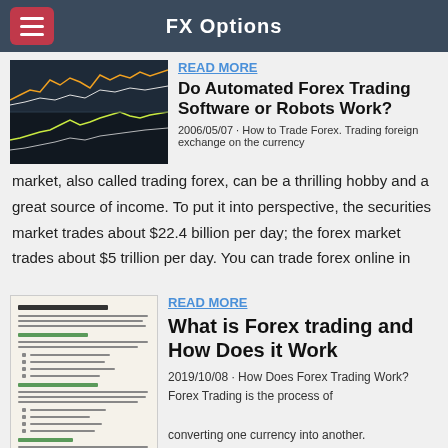FX Options
READ MORE
Do Automated Forex Trading Software or Robots Work?
2006/05/07 · How to Trade Forex. Trading foreign exchange on the currency market, also called trading forex, can be a thrilling hobby and a great source of income. To put it into perspective, the securities market trades about $22.4 billion per day; the forex market trades about $5 trillion per day. You can trade forex online in
READ MORE
What is Forex trading and How Does it Work
2019/10/08 · How Does Forex Trading Work? Forex Trading is the process of converting one currency into another.